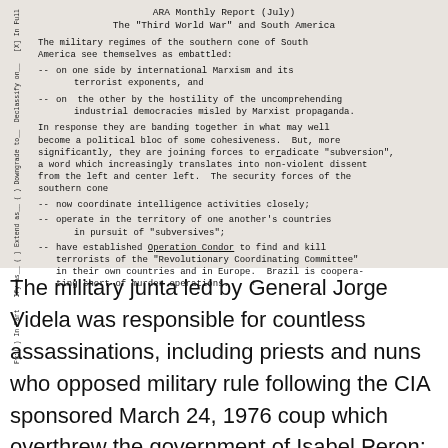ARA Monthly Report (July)
The "Third World War" and South America
The military regimes of the southern cone of South America see themselves as embattled:
-- on one side by international Marxism and its terrorist exponents, and
-- on the other by the hostility of the uncomprehending industrial democracies misled by Marxist propaganda.
In response they are banding together in what may well become a political bloc of some cohesiveness. But, more significantly, they are joining forces to eradicate "subversion", a word which increasingly translates into non-violent dissent from the left and center left. The security forces of the southern cone
-- now coordinate intelligence activities closely;
-- operate in the territory of one another's countries in pursuit of "subversives";
-- have established Operation Condor to find and kill terrorists of the "Revolutionary Coordinating Committee" in their own countries and in Europe. Brazil is cooperating short of murder operations.
The military junta led by General Jorge Videla was responsible for countless assassinations, including priests and nuns who opposed military rule following the CIA sponsored March 24, 1976 coup which overthrew the government of Isabel Peron: